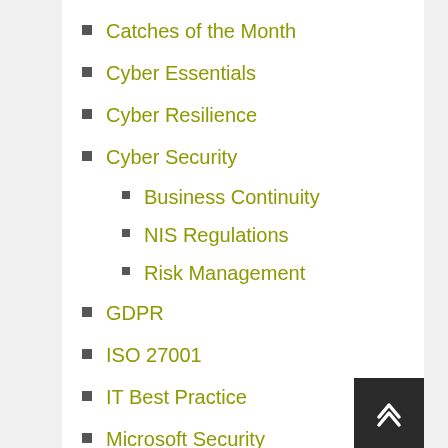Catches of the Month
Cyber Essentials
Cyber Resilience
Cyber Security
Business Continuity
NIS Regulations
Risk Management
GDPR
ISO 27001
IT Best Practice
Microsoft Security
Monthly Data Breaches and Cyber Attacks
News
PCI DSS